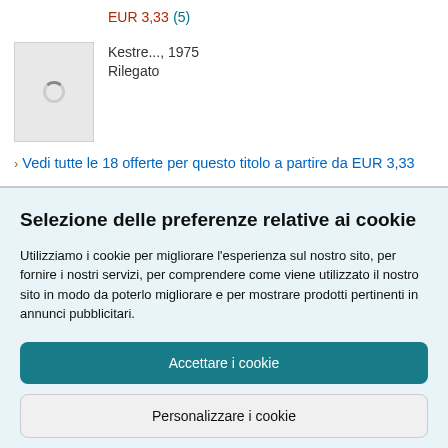EUR 3,33 (5)
[Figure (photo): Product thumbnail image placeholder with loading spinner]
Kestre..., 1975
Rilegato
› Vedi tutte le 18 offerte per questo titolo a partire da EUR 3,33
Selezione delle preferenze relative ai cookie
Utilizziamo i cookie per migliorare l'esperienza sul nostro sito, per fornire i nostri servizi, per comprendere come viene utilizzato il nostro sito in modo da poterlo migliorare e per mostrare prodotti pertinenti in annunci pubblicitari.
Accettare i cookie
Personalizzare i cookie